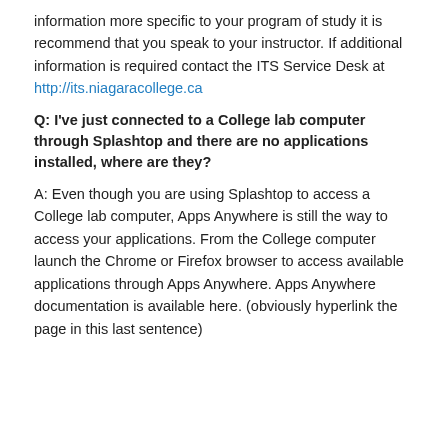information more specific to your program of study it is recommend that you speak to your instructor. If additional information is required contact the ITS Service Desk at http://its.niagaracollege.ca
Q: I've just connected to a College lab computer through Splashtop and there are no applications installed, where are they?
A: Even though you are using Splashtop to access a College lab computer, Apps Anywhere is still the way to access your applications. From the College computer launch the Chrome or Firefox browser to access available applications through Apps Anywhere. Apps Anywhere documentation is available here. (obviously hyperlink the page in this last sentence)